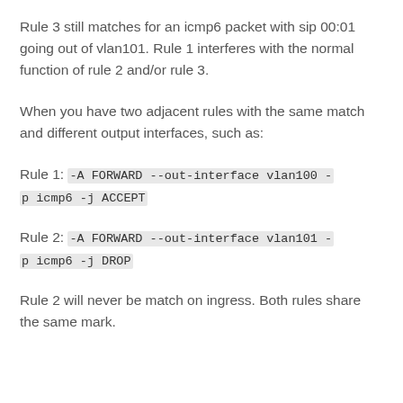Rule 3 still matches for an icmp6 packet with sip 00:01 going out of vlan101. Rule 1 interferes with the normal function of rule 2 and/or rule 3.
When you have two adjacent rules with the same match and different output interfaces, such as:
Rule 1: -A FORWARD --out-interface vlan100 -p icmp6 -j ACCEPT
Rule 2: -A FORWARD --out-interface vlan101 -p icmp6 -j DROP
Rule 2 will never be match on ingress. Both rules share the same mark.